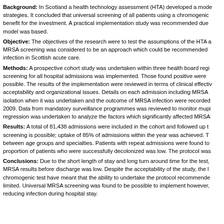Background: In Scotland a health technology assessment (HTA) developed a model to assess MRSA screening strategies. It concluded that universal screening of all patients using a chromogenic test would provide value. A practical implementation study was recommended due to the assumptions on which the model was based.
Objective: The objectives of the research were to test the assumptions of the HTA and to determine whether MRSA screening was considered to be an approach which could be recommended to reduce MRSA infection in Scottish acute care.
Methods: A prospective cohort study was undertaken within three health board regions in which universal screening for all hospital admissions was implemented. Those found positive were decolonized where possible. The results of the implementation were reviewed in terms of clinical effectiveness, economic evaluation, acceptability and organizational issues. Details on each admission including MRSA screening status, isolation when it was undertaken and the outcome of MRSA infection were recorded from 2007 to 2009. Data from mandatory surveillance programmes was reviewed to monitor mupirocin resistance. Logistic regression was undertaken to analyze the factors which significantly affected MRSA colonization.
Results: A total of 81,438 admissions were included in the cohort and followed up to demonstrate that screening is possible; uptake of 85% of admissions within the year was achieved. There was variation between age groups and specialties. Patients with repeat admissions were found to be higher risk. The proportion of patients who were successfully decolonized was low. The protocol was not always followed.
Conclusions: Due to the short length of stay and long turn around time for the test, the ability to act on MRSA results before discharge was low. Despite the acceptability of the study, the logistical difficulties with the chromogenic test have meant that the ability to undertake the protocol recommended in the HTA model was limited. Universal MRSA screening was found to be possible to implement however, the test was not effective in reducing infection during hospital stay.